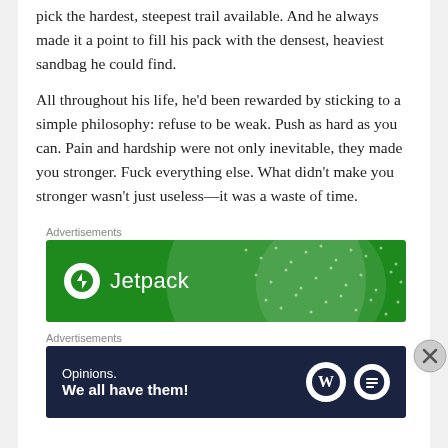pick the hardest, steepest trail available. And he always made it a point to fill his pack with the densest, heaviest sandbag he could find.
All throughout his life, he’d been rewarded by sticking to a simple philosophy: refuse to be weak. Push as hard as you can. Pain and hardship were not only inevitable, they made you stronger. Fuck everything else. What didn’t make you stronger wasn’t just useless—it was a waste of time.
Advertisements
[Figure (screenshot): Jetpack advertisement banner with green background, circular design elements, and Jetpack logo with lightning bolt icon]
Advertisements
[Figure (screenshot): Dark navy advertisement banner reading 'Opinions. We all have them!' with WordPress and blog logos on right side]